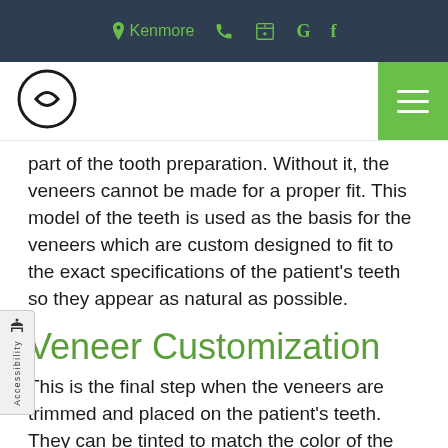Kenmore
part of the tooth preparation. Without it, the veneers cannot be made for a proper fit. This model of the teeth is used as the basis for the veneers which are custom designed to fit to the exact specifications of the patient's teeth so they appear as natural as possible.
Veneer Customization
This is the final step when the veneers are trimmed and placed on the patient's teeth. They can be tinted to match the color of the remaining natural teeth and trimmed to fit perfectly, matching the